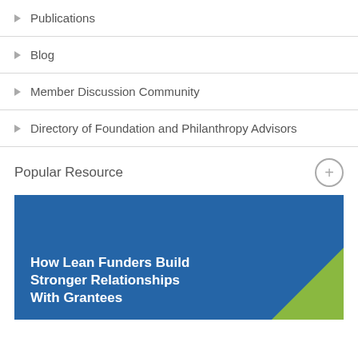Publications
Blog
Member Discussion Community
Directory of Foundation and Philanthropy Advisors
Popular Resource
[Figure (illustration): Blue promotional banner with white bold text reading 'How Lean Funders Build Stronger Relationships With Grantees' and a green triangle accent in bottom-right corner]